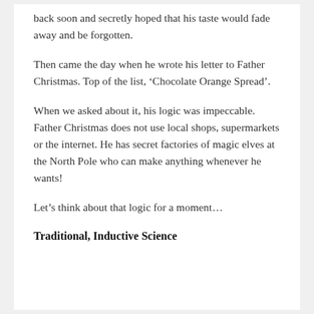back soon and secretly hoped that his taste would fade away and be forgotten.
Then came the day when he wrote his letter to Father Christmas. Top of the list, ‘Chocolate Orange Spread’.
When we asked about it, his logic was impeccable. Father Christmas does not use local shops, supermarkets or the internet. He has secret factories of magic elves at the North Pole who can make anything whenever he wants!
Let’s think about that logic for a moment…
Traditional, Inductive Science